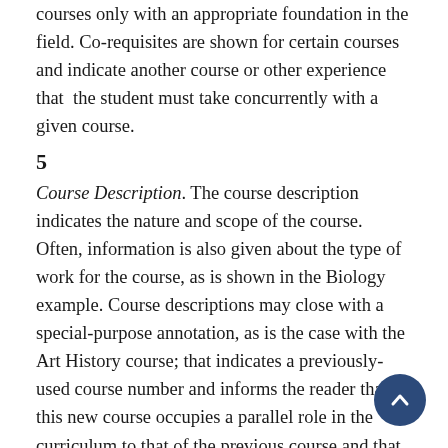courses only with an appropriate foundation in the field. Co-requisites are shown for certain courses and indicate another course or other experience that  the student must take concurrently with a given course.
5
Course Description. The course description indicates the nature and scope of the course. Often, information is also given about the type of work for the course, as is shown in the Biology example. Course descriptions may close with a special-purpose annotation, as is the case with the Art History course; that indicates a previously-used course number and informs the reader that this new course occupies a parallel role in the curriculum to that of the previous course and that their content is similar. Course descriptions do not indicate the status of a course to fulfill